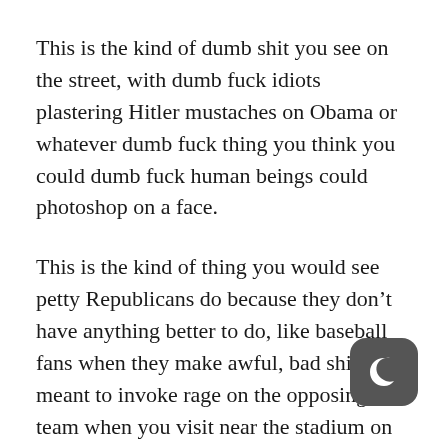This is the kind of dumb shit you see on the street, with dumb fuck idiots plastering Hitler mustaches on Obama or whatever dumb fuck thing you think you could dumb fuck human beings could photoshop on a face.
This is the kind of thing you would see petty Republicans do because they don't have anything better to do, like baseball fans when they make awful, bad shirts meant to invoke rage on the opposing team when you visit near the stadium on the street (looking at you Chewing Gum field). Tom Steyer is the Democratic version of that, and his airing of "ads" do nothing but harm the public